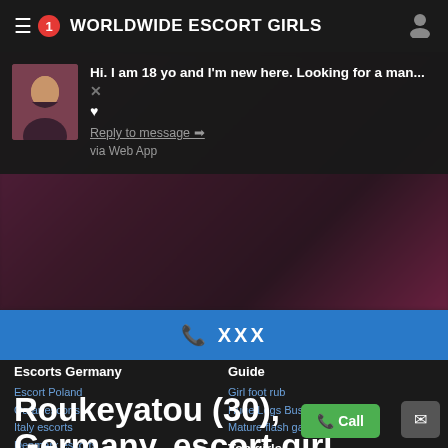WORLDWIDE ESCORT GIRLS
[Figure (screenshot): Notification popup showing a woman's avatar photo with message: Hi. I am 18 yo and I'm new here. Looking for a man... with heart icon, Reply to message link, via Web App text, and a blurred background image]
📞 XXX
Escorts Germany
Escort Poland
Qatar escorts
Italy escorts
Denmark escorts
All escorts
Guide
Girl foot rub
Huge Legs Busty
Mature flash game
Top girls
Marianna
Owafia
Gunvi
Natalie Joanna
Roukeyatou (30), Germany, escort girl